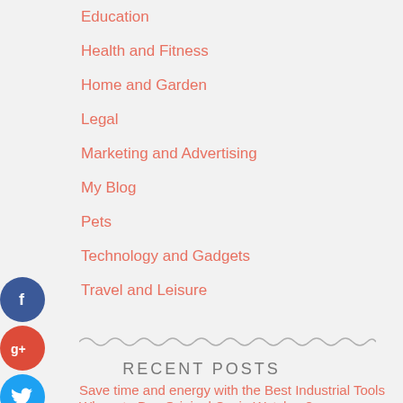Education
Health and Fitness
Home and Garden
Legal
Marketing and Advertising
My Blog
Pets
Technology and Gadgets
Travel and Leisure
[Figure (infographic): Social sharing icons: Facebook (blue circle), Google+ (red circle), Twitter (light blue circle), AddThis (dark circle)]
[Figure (illustration): Wavy/zigzag decorative divider line]
RECENT POSTS
Save time and energy with the Best Industrial Tools
Where to Buy Original Casio Watches?